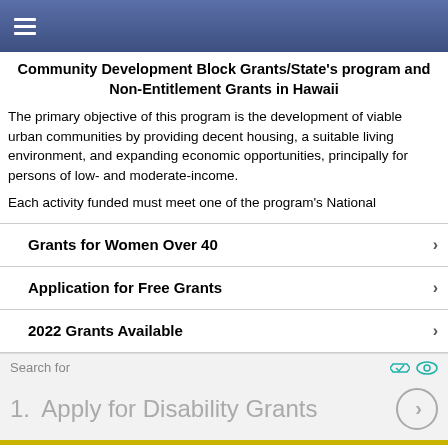≡ (navigation menu)
Community Development Block Grants/State's program and Non-Entitlement Grants in Hawaii
The primary objective of this program is the development of viable urban communities by providing decent housing, a suitable living environment, and expanding economic opportunities, principally for persons of low- and moderate-income.
Each activity funded must meet one of the program's National
Grants for Women Over 40
Application for Free Grants
2022 Grants Available
Search for
1.  Apply for Disability Grants